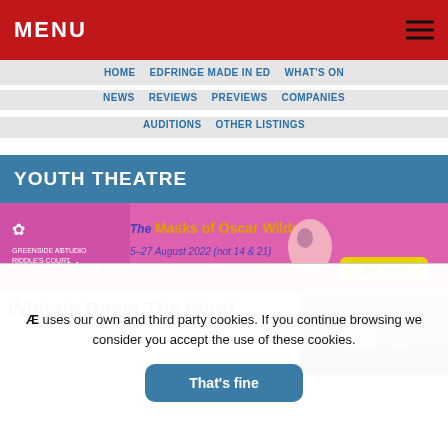MENU
HOME   EDFRINGE MADE IN ED   WHAT'S ON
NEWS   REVIEWS   PREVIEWS   COMPANIES
AUDITIONS   OTHER LISTINGS
YOUTH THEATRE
[Figure (photo): Advertisement banner for The Masks of Oscar Wilde, Greenside at Riddle's Court Willow Studio, Fringe, 5-27 August 2022 (not 14 & 21), Buy now!]
Whistle Down The Wind
[Figure (photo): Photo of performers, article image for Whistle Down The Wind]
Æ uses our own and third party cookies. If you continue browsing we consider you accept the use of these cookies.
That's fine